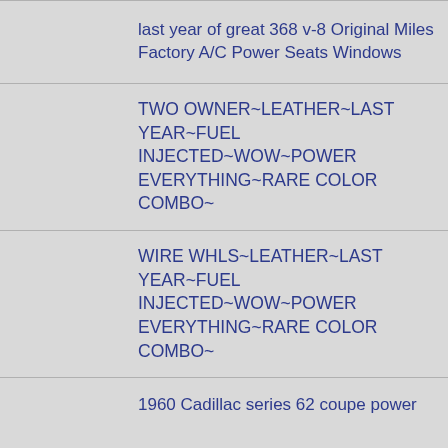last year of great 368 v-8 Original Miles Factory A/C Power Seats Windows
TWO OWNER~LEATHER~LAST YEAR~FUEL INJECTED~WOW~POWER EVERYTHING~RARE COLOR COMBO~
WIRE WHLS~LEATHER~LAST YEAR~FUEL INJECTED~WOW~POWER EVERYTHING~RARE COLOR COMBO~
1960 Cadillac series 62 coupe power